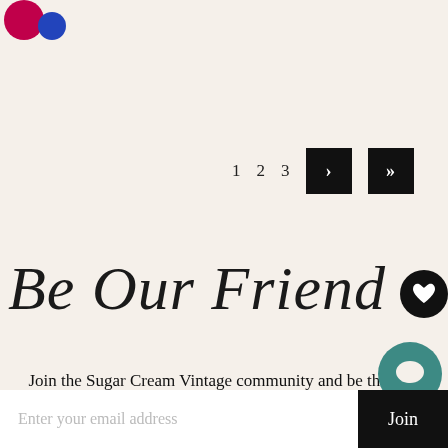[Figure (logo): Sugar Cream Vintage logo: pink circle overlapping smaller blue circle]
1   2   3   >   >>
Be Our Friend
Join the Sugar Cream Vintage community and be the first to hear about offers, news and ideas about how you can live life more sustainably.
Enter your email address   Join